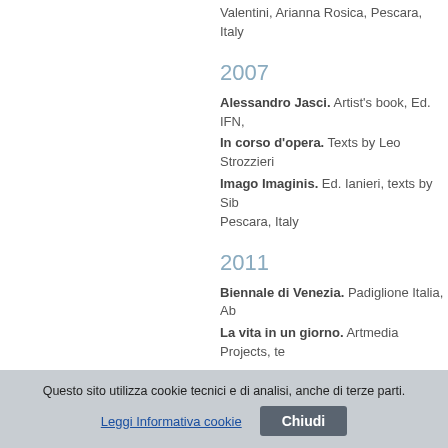Valentini, Arianna Rosica, Pescara, Italy
2007
Alessandro Jasci. Artist's book, Ed. IFN,
In corso d'opera. Texts by Leo Strozzieri
Imago Imaginis. Ed. Ianieri, texts by Sib Pescara, Italy
2011
Biennale di Venezia. Padiglione Italia, Ab
La vita in un giorno. Artmedia Projects, te
2012
Il rumore del silenzio. MUSSPI, Polo Mu
Questo sito utilizza cookie tecnici e di analisi, anche di terze parti.
Leggi Informativa cookie
Chiudi